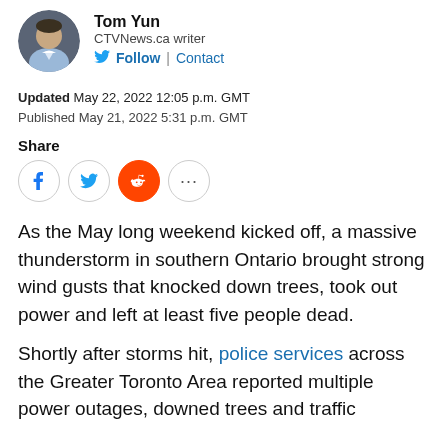[Figure (photo): Circular avatar photo of Tom Yun, a man wearing a light blue shirt, against a dark grey background.]
Tom Yun
CTVNews.ca writer
Follow | Contact
Updated May 22, 2022 12:05 p.m. GMT
Published May 21, 2022 5:31 p.m. GMT
Share
[Figure (infographic): Row of social share buttons: Facebook (f), Twitter (bird icon), Reddit (alien icon, orange), and more (ellipsis).]
As the May long weekend kicked off, a massive thunderstorm in southern Ontario brought strong wind gusts that knocked down trees, took out power and left at least five people dead.
Shortly after storms hit, police services across the Greater Toronto Area reported multiple power outages, downed trees and traffic